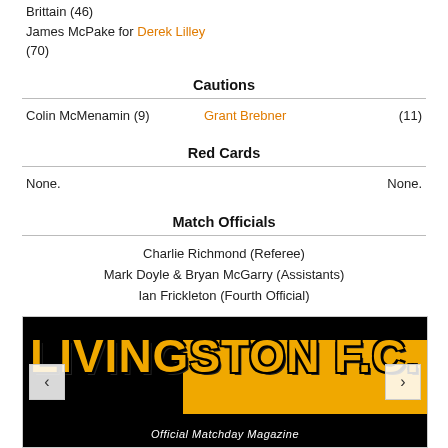Brittain (46)
James McPake for Derek Lilley (70)
Cautions
Colin McMenamin (9)    Grant Brebner (11)
Red Cards
None.    None.
Match Officials
Charlie Richmond (Referee)
Mark Doyle & Bryan McGarry (Assistants)
Ian Frickleton (Fourth Official)
[Figure (photo): Livingston F.C. Official Matchday Magazine banner with navigation arrows]